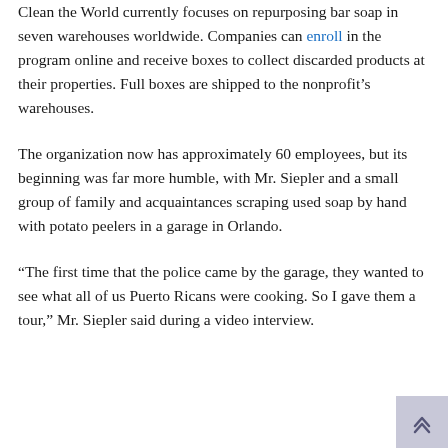Clean the World currently focuses on repurposing bar soap in seven warehouses worldwide. Companies can enroll in the program online and receive boxes to collect discarded products at their properties. Full boxes are shipped to the nonprofit's warehouses.
The organization now has approximately 60 employees, but its beginning was far more humble, with Mr. Siepler and a small group of family and acquaintances scraping used soap by hand with potato peelers in a garage in Orlando.
“The first time that the police came by the garage, they wanted to see what all of us Puerto Ricans were cooking. So I gave them a tour,” Mr. Siepler said during a video interview.